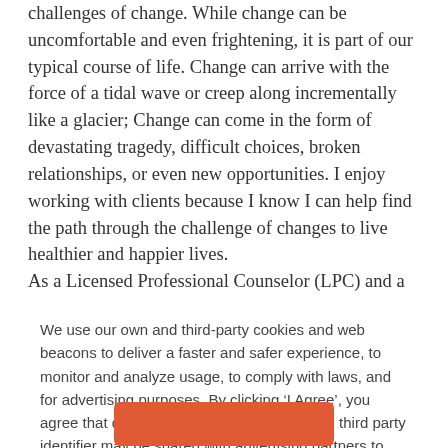challenges of change. While change can be uncomfortable and even frightening, it is part of our typical course of life. Change can arrive with the force of a tidal wave or creep along incrementally like a glacier; Change can come in the form of devastating tragedy, difficult choices, broken relationships, or even new opportunities. I enjoy working with clients because I know I can help find the path through the challenge of changes to live healthier and happier lives.
As a Licensed Professional Counselor (LPC) and a Clinical Substance Abuse Counselor (CSAC), I have assisted many men and
We use our own and third-party cookies and web beacons to deliver a faster and safer experience, to monitor and analyze usage, to comply with laws, and for advertising purposes. By clicking ‘I Agree’, you agree that data such as your IP address and third party identifier may be shared with advertising partners to help us deliver more relevant ads. To update your settings or opt out, go to ‘Cookie Settings’. To learn more read our Privacy Policy.